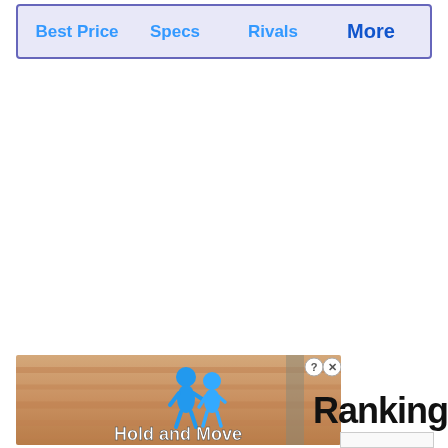Best Price   Specs   Rivals   More
[Figure (screenshot): Advertisement banner showing a mobile game 'Hold and Move' with two blue cartoon figures on a wooden floor background, with close/info buttons in the top right corner.]
Ranking